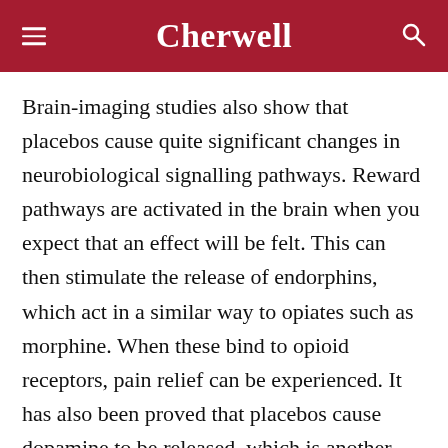Cherwell
Brain-imaging studies also show that placebos cause quite significant changes in neurobiological signalling pathways. Reward pathways are activated in the brain when you expect that an effect will be felt. This can then stimulate the release of endorphins, which act in a similar way to opiates such as morphine. When these bind to opioid receptors, pain relief can be experienced. It has also been proved that placebos cause dopamine to be released, which is another neurotransmitter which can help to decrease pain sensitivity.